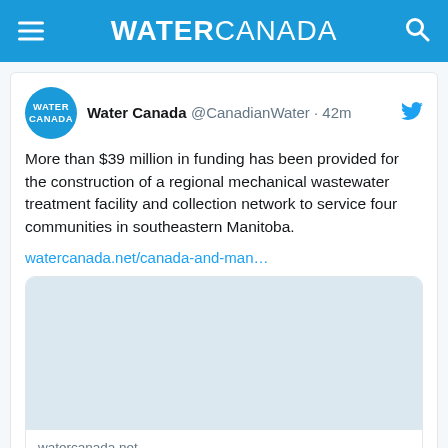WATER CANADA
Water Canada @CanadianWater · 42m
More than $39 million in funding has been provided for the construction of a regional mechanical wastewater treatment facility and collection network to service four communities in southeastern Manitoba.
watercanada.net/canada-and-man…
[Figure (screenshot): Link preview card image area (blank/grey) with watercanada.net footer]